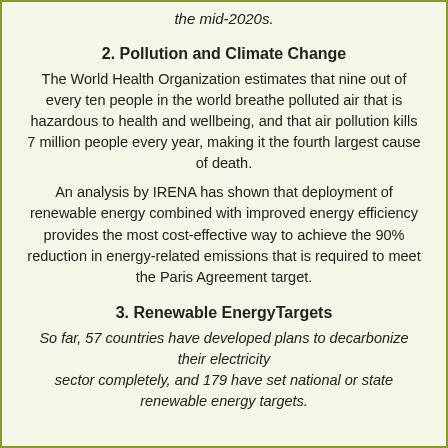the mid-2020s.
2. Pollution and Climate Change
The World Health Organization estimates that nine out of every ten people in the world breathe polluted air that is hazardous to health and wellbeing, and that air pollution kills 7 million people every year, making it the fourth largest cause of death.
An analysis by IRENA has shown that deployment of renewable energy combined with improved energy efficiency provides the most cost-effective way to achieve the 90% reduction in energy-related emissions that is required to meet the Paris Agreement target.
3. Renewable EnergyTargets
So far, 57 countries have developed plans to decarbonize their electricity sector completely, and 179 have set national or state renewable energy targets.